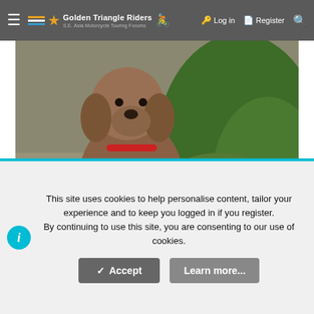Golden Triangle Riders — SE Asia Motorcycle Touring Forums | Log in | Register
[Figure (photo): A brown/chocolate poodle dog standing on a gravel path outdoors, surrounded by green vegetation and fallen leaves.]
WE FOUND IT! (Took nothing; left a GT-Rider sticker).
This site uses cookies to help personalise content, tailor your experience and to keep you logged in if you register. By continuing to use this site, you are consenting to our use of cookies.